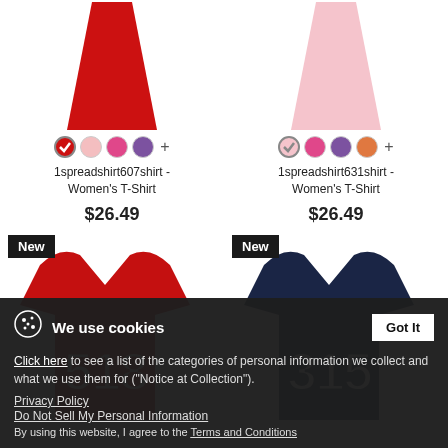[Figure (photo): Red women's dress/flare top product image on white background]
[Figure (photo): Pink women's dress/flare top product image on white background]
1spreadshirt607shirt - Women's T-Shirt
$26.49
1spreadshirt631shirt - Women's T-Shirt
$26.49
[Figure (photo): Red women's t-shirt with large number 518 in white block letters, with New badge]
[Figure (photo): Navy women's t-shirt with large number 315 in white block letters, with New badge]
We use cookies
Click here to see a list of the categories of personal information we collect and what we use them for ("Notice at Collection").
Privacy Policy
Do Not Sell My Personal Information
By using this website, I agree to the Terms and Conditions